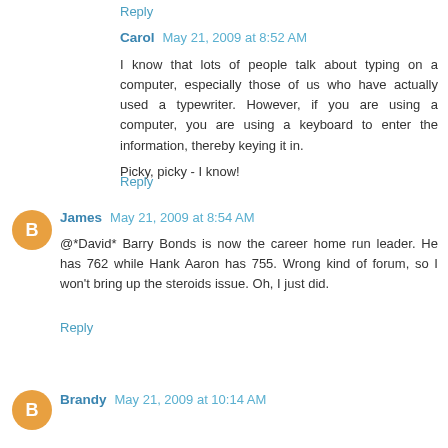Reply
Carol  May 21, 2009 at 8:52 AM
I know that lots of people talk about typing on a computer, especially those of us who have actually used a typewriter. However, if you are using a computer, you are using a keyboard to enter the information, thereby keying it in.
Picky, picky - I know!
Reply
James  May 21, 2009 at 8:54 AM
@*David* Barry Bonds is now the career home run leader. He has 762 while Hank Aaron has 755. Wrong kind of forum, so I won't bring up the steroids issue. Oh, I just did.
Reply
Brandy  May 21, 2009 at 10:14 AM